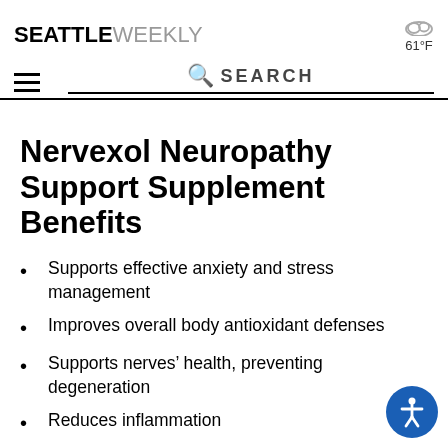SEATTLE WEEKLY  ☁ 61°F
Nervexol Neuropathy Support Supplement Benefits
Supports effective anxiety and stress management
Improves overall body antioxidant defenses
Supports nerves' health, preventing degeneration
Reduces inflammation
Prevents, relieves, and treats neuropathy
Prevents chemotherapy-induced neurotoxicity